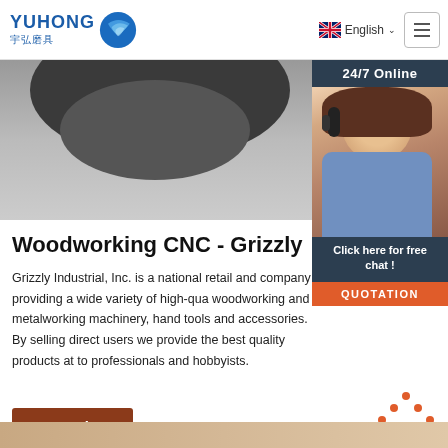YUHONG 宇弘磨具 — English navigation header
[Figure (photo): Hero image showing a dark circular grinding disc against a grey background]
[Figure (photo): 24/7 Online customer service agent sidebar with woman wearing headset, 'Click here for free chat!' text, and QUOTATION button]
Woodworking CNC - Grizzly
Grizzly Industrial, Inc. is a national retail and company providing a wide variety of high-quality woodworking and metalworking machinery, hand tools and accessories. By selling directly to users we provide the best quality products at to professionals and hobbyists.
[Figure (other): Get Price button (brown/rust colored)]
[Figure (other): TOP button with orange dot arrows pointing up]